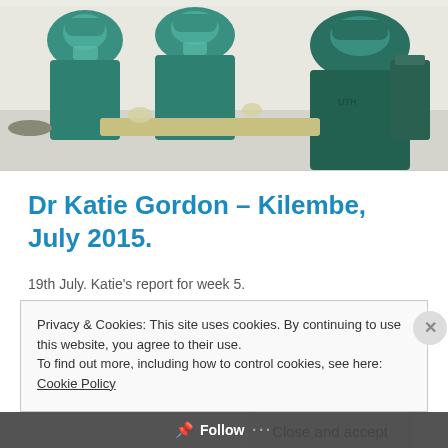[Figure (photo): Medical operating room scene with surgeons and staff in green surgical scrubs and masks performing or observing a procedure]
Dr Katie Gordon – Kilembe, July 2015.
19th July.  Katie's report for week 5.
Privacy & Cookies: This site uses cookies. By continuing to use this website, you agree to their use.
To find out more, including how to control cookies, see here: Cookie Policy
Close and accept